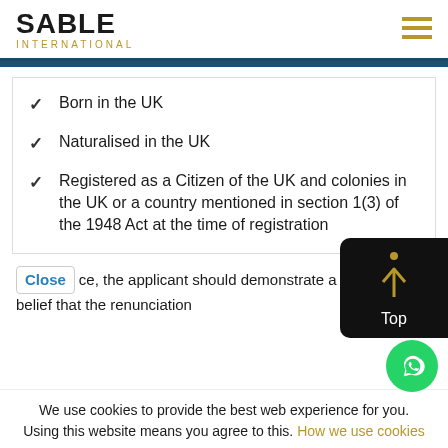SABLE INTERNATIONAL
Born in the UK
Naturalised in the UK
Registered as a Citizen of the UK and colonies in the UK or a country mentioned in section 1(3) of the 1948 Act at the time of registration
ce, the applicant should demonstrate a reasonable belief that the renunciation
We use cookies to provide the best web experience for you. Using this website means you agree to this. How we use cookies